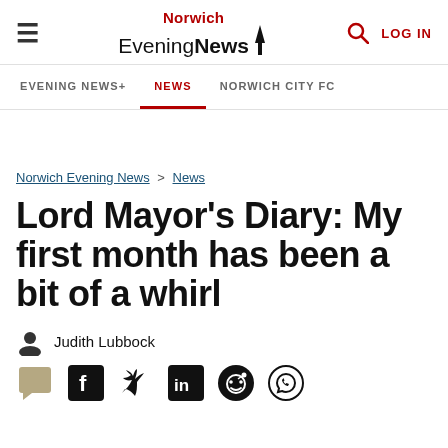Norwich Evening News — LOG IN
EVENING NEWS+  NEWS  NORWICH CITY FC
Norwich Evening News > News
Lord Mayor's Diary: My first month has been a bit of a whirl
Judith Lubbock